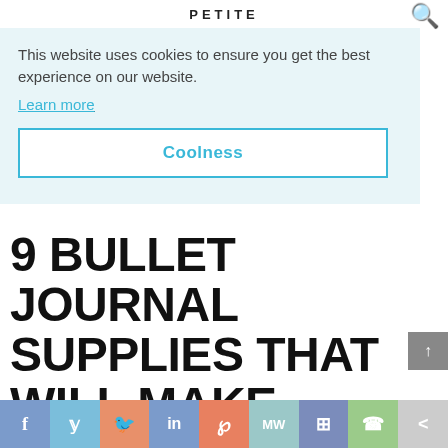PETITE
This website uses cookies to ensure you get the best experience on our website.
Learn more
Coolness
9 BULLET JOURNAL SUPPLIES THAT WILL MAKE YOUR LIFE EASIER
f  y  d  in  p  mw  m  (whatsapp)  <more>